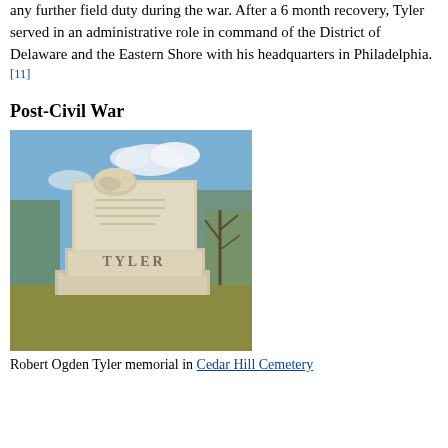any further field duty during the war. After a 6 month recovery, Tyler served in an administrative role in command of the District of Delaware and the Eastern Shore with his headquarters in Philadelphia.[11]
Post-Civil War
[Figure (photo): Photograph of the Robert Ogden Tyler memorial gravestone in Cedar Hill Cemetery, showing a large stone monument with 'TYLER' carved on the base, surrounded by bare trees and grass under a blue sky.]
Robert Ogden Tyler memorial in Cedar Hill Cemetery